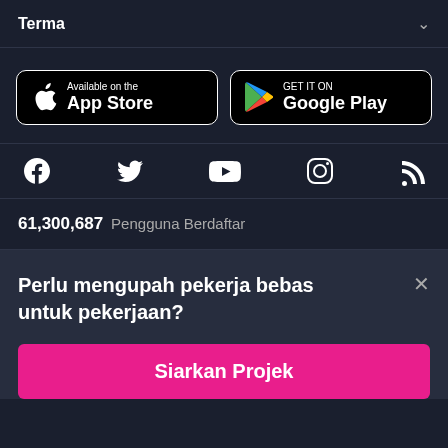Terma
[Figure (logo): App Store and Google Play download buttons]
[Figure (infographic): Social media icons: Facebook, Twitter, YouTube, Instagram, RSS]
61,300,687 Pengguna Berdaftar
Perlu mengupah pekerja bebas untuk pekerjaan?
Siarkan Projek